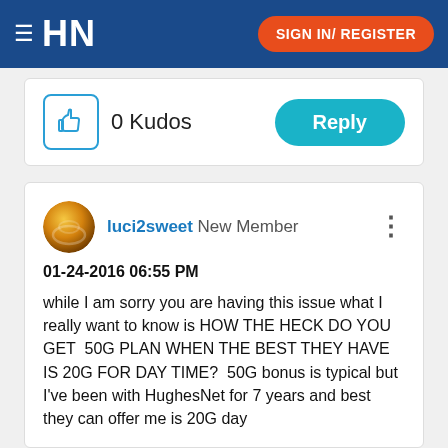HN  SIGN IN/ REGISTER
0 Kudos   Reply
luci2sweet New Member
01-24-2016 06:55 PM
while I am sorry you are having this issue what I really want to know is HOW THE HECK DO YOU GET  50G PLAN WHEN THE BEST THEY HAVE IS 20G FOR DAY TIME?  50G bonus is typical but I've been with HughesNet for 7 years and best they can offer me is 20G day